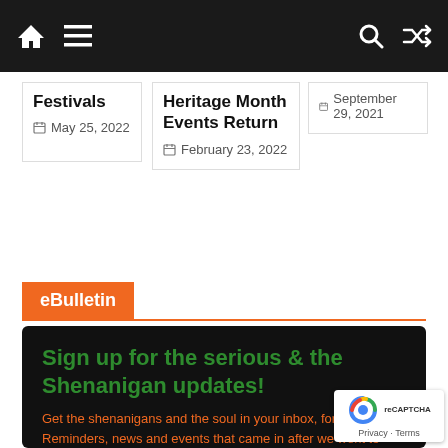Navigation bar with home, menu, search, and shuffle icons
Festivals
May 25, 2022
Heritage Month Events Return
February 23, 2022
September 29, 2021
eBulletin
Sign up for the serious & the Shenanigan updates!
Get the shenanigans and the soul in your inbox, for free. Reminders, news and events that came in after we went to print, and last minute updates to those news and events.